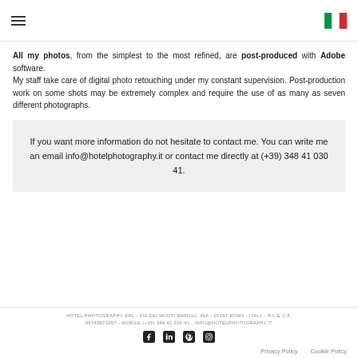[hamburger menu icon] [Italian flag icon]
All my photos, from the simplest to the most refined, are post-produced with Adobe software.
My staff take care of digital photo retouching under my constant supervision. Post-production work on some shots may be extremely complex and require the use of as many as seven different photographs.
If you want more information do not hesitate to contact me. You can write me an email info@hotelphotography.it or contact me directly at (+39) 348 41 030 41.
HOTEL PHOTOGRAPHY SRL - VIA DEI MONTI PARIOLI, 49A - 00197 ROMA - ITALY - P.I. E C.F. 09743871007 - MOBILE (+39) 348 41 030 41 - INFO@HOTELPHOTOGRAPHY.IT
[Facebook] [LinkedIn] [Pinterest] [Instagram]
Privacy Policy   Cookie Policy